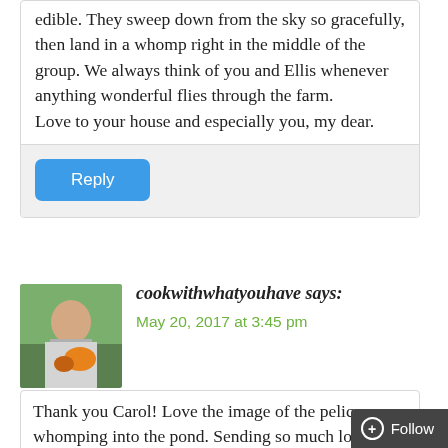edible. They sweep down from the sky so gracefully, then land in a whomp right in the middle of the group. We always think of you and Ellis whenever anything wonderful flies through the farm.
Love to your house and especially you, my dear.
Reply
cookwithwhatyouhave says:
May 20, 2017 at 3:45 pm
Thank you Carol! Love the image of the pelicans whomping into the pond. Sending so much love to